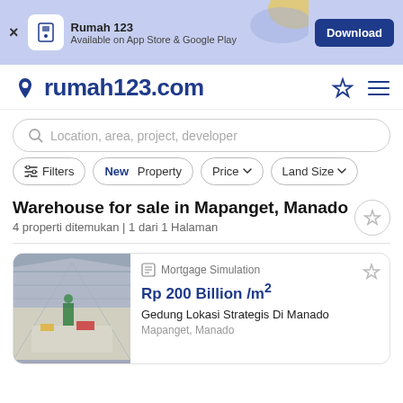[Figure (screenshot): App store download banner for Rumah 123 app with Download button]
rumah123.com
Location, area, project, developer
Filters | New Property | Price | Land Size
Warehouse for sale in Mapanget, Manado
4 properti ditemukan | 1 dari 1 Halaman
Mortgage Simulation
Rp 200 Billion /m²
Gedung Lokasi Strategis Di Manado
Mapanget, Manado